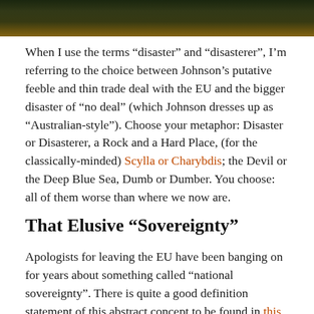[Figure (photo): Dark atmospheric image of a figure or scene with dark greens and amber/golden tones, cropped at the top of the page]
When I use the terms “disaster” and “disasterer”, I’m referring to the choice between Johnson’s putative feeble and thin trade deal with the EU and the bigger disaster of “no deal” (which Johnson dresses up as “Australian-style”). Choose your metaphor: Disaster or Disasterer, a Rock and a Hard Place, (for the classically-minded) Scylla or Charybdis; the Devil or the Deep Blue Sea, Dumb or Dumber. You choose: all of them worse than where we now are.
That Elusive “Sovereignty”
Apologists for leaving the EU have been banging on for years about something called “national sovereignty”. There is quite a good definition statement of this abstract concept to be found in this US website. In the abstract, this sounds like a good idea – as long as you don’t think too deeply about it. As far as we are allowed to know, at the